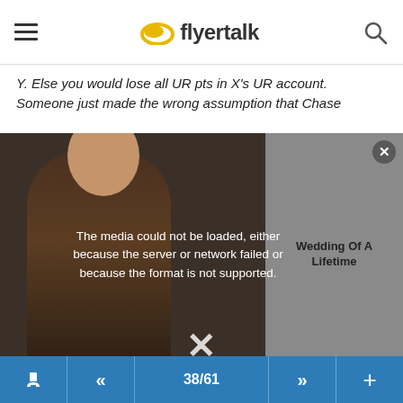flyertalk
Y. Else you would lose all UR pts in X's UR account. Someone just made the wrong assumption that Chase
[Figure (screenshot): Video player error overlay: dark semi-transparent overlay with person in background, message 'The media could not be loaded, either because the server or network failed or because the format is not supported.' Right panel shows 'Wedding Of A Lifetime' text. Close button top-right. X button at bottom.]
sam_goh , Jul 7, 14 4:33 pm
#567
Has anyone with an Ink Plus MC called and see if they would product change to an Ink Plus Visa to use the Visa Savings Edge? Note, I already have an Ink Plus Visa that seems to register as a different business with Chase.
#568
38/61